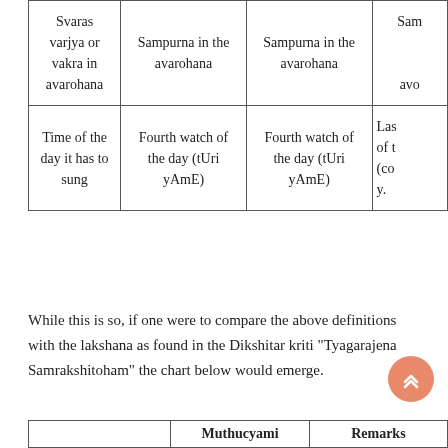| Svaras varjya or vakra in avarohana | Sampurna in the avarohana | Sampurna in the avarohana | Sam... avo... |
| --- | --- | --- | --- |
| Time of the day it has to sung | Fourth watch of the day (tUri yAmE) | Fourth watch of the day (tUri yAmE) | Las... of t... (co... y... |
While this is so, if one were to compare the above definitions with the lakshana as found in the Dikshitar kriti "Tyagarajena Samrakshitoham" the chart below would emerge.
|  | Muthucyami | Remarks |
| --- | --- | --- |